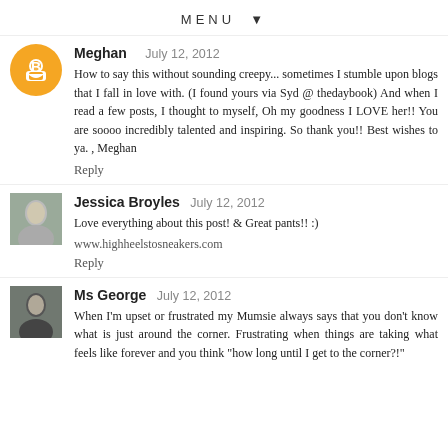MENU ▼
Meghan  July 12, 2012
How to say this without sounding creepy... sometimes I stumble upon blogs that I fall in love with. (I found yours via Syd @ thedaybook) And when I read a few posts, I thought to myself, Oh my goodness I LOVE her!! You are soooo incredibly talented and inspiring. So thank you!! Best wishes to ya. , Meghan
Reply
Jessica Broyles  July 12, 2012
Love everything about this post! & Great pants!! :)
www.highheelstosneakers.com
Reply
Ms George  July 12, 2012
When I'm upset or frustrated my Mumsie always says that you don't know what is just around the corner. Frustrating when things are taking what feels like forever and you think "how long until I get to the corner?!"